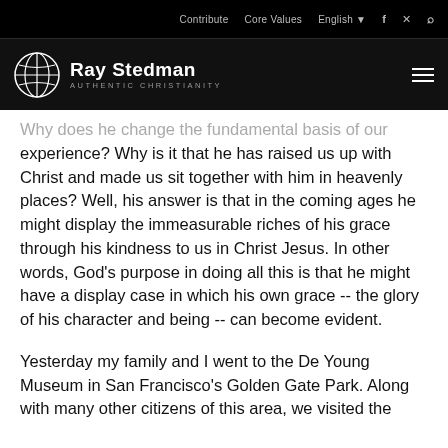Contribute  Core Values  English  f  Twitter  Search
Ray Stedman AUTHENTIC CHRISTIANITY
Why does he change the fundamental basis of our experience? Why is it that he has raised us up with Christ and made us sit together with him in heavenly places? Well, his answer is that in the coming ages he might display the immeasurable riches of his grace through his kindness to us in Christ Jesus. In other words, God's purpose in doing all this is that he might have a display case in which his own grace -- the glory of his character and being -- can become evident.
Yesterday my family and I went to the De Young Museum in San Francisco's Golden Gate Park. Along with many other citizens of this area, we visited the